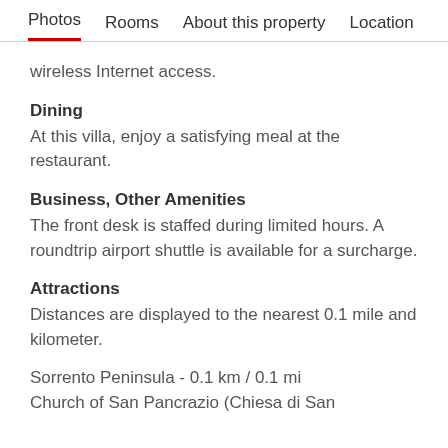Photos   Rooms   About this property   Location
wireless Internet access.
Dining
At this villa, enjoy a satisfying meal at the restaurant.
Business, Other Amenities
The front desk is staffed during limited hours. A roundtrip airport shuttle is available for a surcharge.
Attractions
Distances are displayed to the nearest 0.1 mile and kilometer.
Sorrento Peninsula - 0.1 km / 0.1 mi
Church of San Pancrazio (Chiesa di San